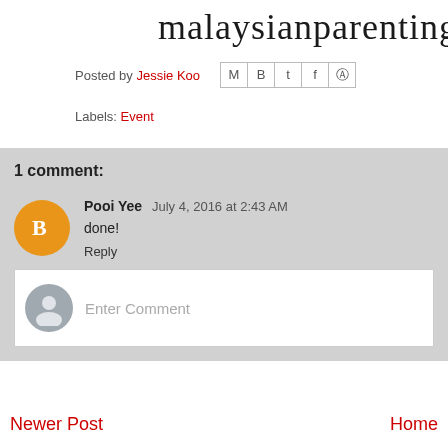malaysianparenting
Posted by Jessie Koo
Labels: Event
1 comment:
Pooi Yee  July 4, 2016 at 2:43 AM
done!
Reply
Enter Comment
Newer Post    Home